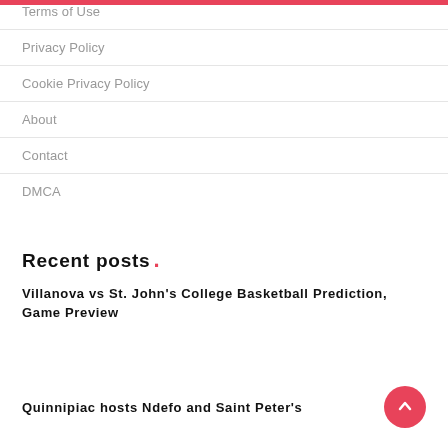Terms of Use
Privacy Policy
Cookie Privacy Policy
About
Contact
DMCA
Recent posts .
Villanova vs St. John's College Basketball Prediction, Game Preview
Quinnipiac hosts Ndefo and Saint Peter's